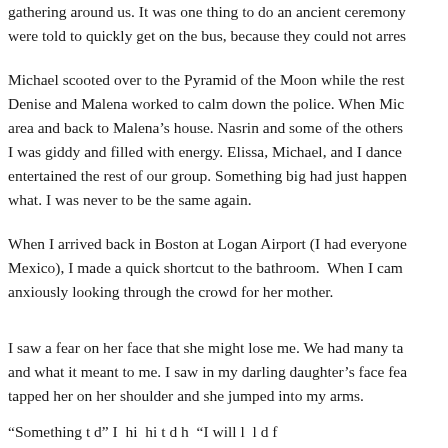gathering around us. It was one thing to do an ancient ceremony were told to quickly get on the bus, because they could not arres
Michael scooted over to the Pyramid of the Moon while the rest Denise and Malena worked to calm down the police. When Mic area and back to Malena’s house. Nasrin and some of the others I was giddy and filled with energy. Elissa, Michael, and I dance entertained the rest of our group. Something big had just happen what. I was never to be the same again.
When I arrived back in Boston at Logan Airport (I had everyone Mexico), I made a quick shortcut to the bathroom.  When I cam anxiously looking through the crowd for her mother.
I saw a fear on her face that she might lose me. We had many ta and what it meant to me. I saw in my darling daughter’s face fea tapped her on her shoulder and she jumped into my arms.
“Something t d” I  hi  hi t d h “I will l l d f